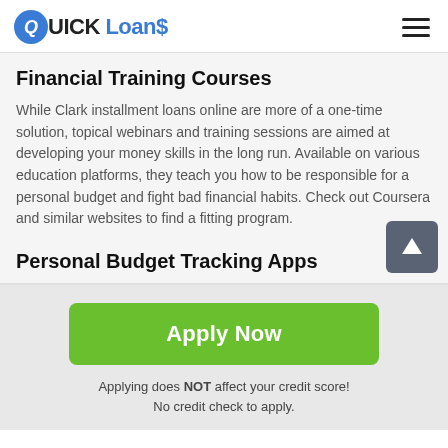QUICK Loans
Financial Training Courses
While Clark installment loans online are more of a one-time solution, topical webinars and training sessions are aimed at developing your money skills in the long run. Available on various education platforms, they teach you how to be responsible for a personal budget and fight bad financial habits. Check out Coursera and similar websites to find a fitting program.
Personal Budget Tracking Apps
Apply Now
Applying does NOT affect your credit score!
No credit check to apply.